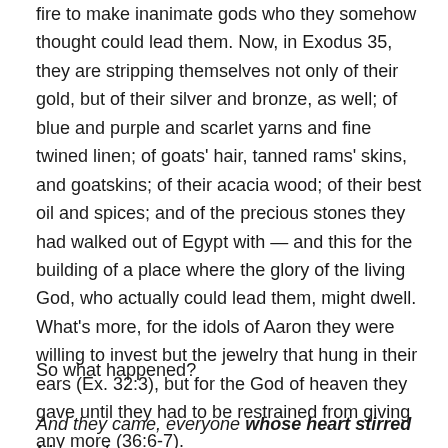fire to make inanimate gods who they somehow thought could lead them. Now, in Exodus 35, they are stripping themselves not only of their gold, but of their silver and bronze, as well; of blue and purple and scarlet yarns and fine twined linen; of goats' hair, tanned rams' skins, and goatskins; of their acacia wood; of their best oil and spices; and of the precious stones they had walked out of Egypt with — and this for the building of a place where the glory of the living God, who actually could lead them, might dwell. What's more, for the idols of Aaron they were willing to invest but the jewelry that hung in their ears (Ex. 32:3), but for the God of heaven they gave until they had to be restrained from giving any more (36:6-7).
So what happened?
And they came, everyone whose heart stirred him, and